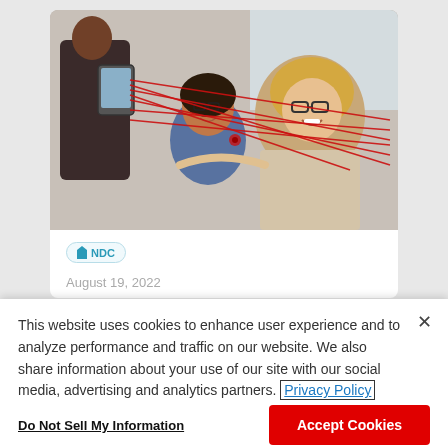[Figure (photo): Office scene with people laughing and holding red elastic bands stretched between them. Two women in foreground, one with glasses smiling widely, another seated behind her. A person in dark clothing stands on the left holding a tablet.]
NDC
August 19, 2022
This website uses cookies to enhance user experience and to analyze performance and traffic on our website. We also share information about your use of our site with our social media, advertising and analytics partners. Privacy Policy
Do Not Sell My Information
Accept Cookies